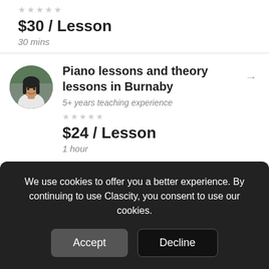★★★★★
$30 / Lesson
30 mins
[Figure (photo): Circular avatar photo of a woman with dark hair, smiling, outdoors with green background]
Piano lessons and theory lessons in Burnaby
5+ years teaching experience
★★★★★
$24 / Lesson
1 hour
We use cookies to offer you a better experience. By continuing to use Clascity, you consent to use our cookies.
Accept
Decline